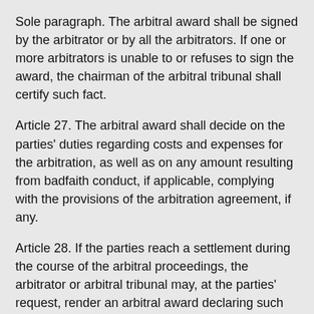Sole paragraph. The arbitral award shall be signed by the arbitrator or by all the arbitrators. If one or more arbitrators is unable to or refuses to sign the award, the chairman of the arbitral tribunal shall certify such fact.
Article 27. The arbitral award shall decide on the parties' duties regarding costs and expenses for the arbitration, as well as on any amount resulting from badfaith conduct, if applicable, complying with the provisions of the arbitration agreement, if any.
Article 28. If the parties reach a settlement during the course of the arbitral proceedings, the arbitrator or arbitral tribunal may, at the parties' request, render an arbitral award declaring such fact, containing the requirements provided for in Article 26 of this Law.
Article 29. The rendering of the arbitral award marks the end of the arbitration; the sole arbitrator or the chairman of the arbitral tribunal must send a copy of the decision to the parties by mail